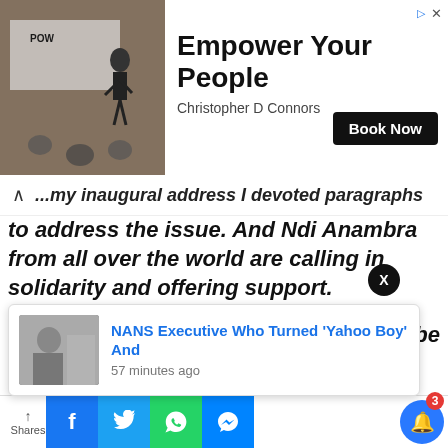[Figure (screenshot): Advertisement banner: photo of man presenting at conference, with text 'Empower Your People', 'Christopher D Connors', and 'Book Now' button]
to address the issue. And Ndi Anambra from all over the world are calling in solidarity and offering support.
“I wish God will also ‘reveal’ to you the identity of the criminals so that we take them out. I know that you are a man of God and I deeply respect all of God’s anointed but making incendiary and wild claims ...from the pulpit should be
[Figure (screenshot): Popup notification card: thumbnail image of person, headline 'NANS Executive Who Turned \'Yahoo Boy\' And', timestamp '57 minutes ago']